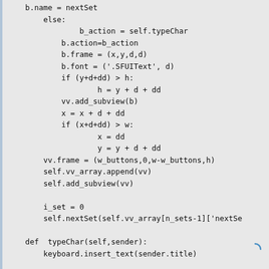b.name = nextSet
        else:
                b_action = self.typeChar
            b.action=b_action
            b.frame = (x,y,d,d)
            b.font = ('.SFUIText', d)
            if (y+d+dd) > h:
                    h = y + d + dd
            vv.add_subview(b)
            x = x + d + dd
            if (x+d+dd) > w:
                    x = dd
                    y = y + d + dd
        vv.frame = (w_buttons,0,w-w_buttons,h)
        self.vv_array.append(vv)
        self.add_subview(vv)

        i_set = 0
        self.nextSet(self.vv_array[n_sets-1]['nextSe

    def  typeChar(self,sender):
        keyboard.insert_text(sender.title)

    def  nextSet(self,sender):
        i_set = sender.i_set + 1